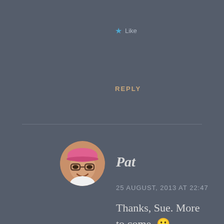★ Like
REPLY
[Figure (photo): Circular avatar photo of a smiling person wearing a pink cap and glasses]
Pat
25 AUGUST, 2013 AT 22:47
Thanks, Sue. More to come. 🙂